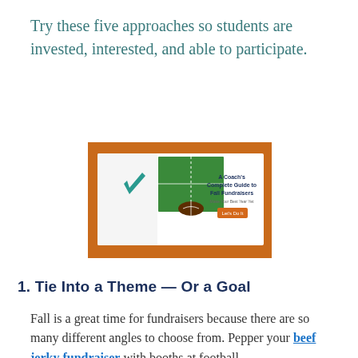Try these five approaches so students are invested, interested, and able to participate.
[Figure (illustration): Advertisement banner for 'A Coach's Complete Guide to Fall Fundraisers' featuring a football field photo, a logo with a teal checkmark, text, and an orange 'Let's Do It' button, on an orange football-texture background.]
1. Tie Into a Theme — Or a Goal
Fall is a great time for fundraisers because there are so many different angles to choose from. Pepper your beef jerky fundraiser with booths at football